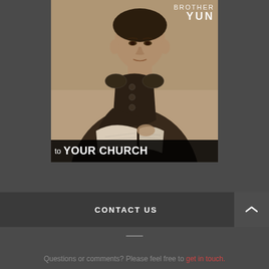[Figure (photo): Book cover for Brother Yun featuring a sepia-toned photo of an Asian man in traditional Chinese attire holding an open book/Bible. Text overlay at bottom reads 'to YOUR CHURCH' in white on dark background. 'BROTHER YUN' text appears in upper right.]
CONTACT US
Questions or comments? Please feel free to get in touch.